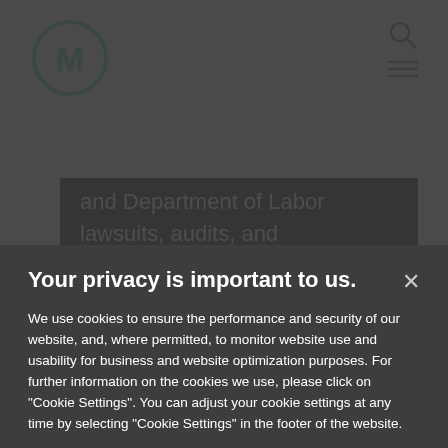[Figure (logo): Circular logo with letter M in dark teal/green color]
and Department of Labor lawsuits, audits, and investigations.  His particular expertise is with actions for
Your privacy is important to us.
We use cookies to ensure the performance and security of our website, and, where permitted, to monitor website use and usability for business and website optimization purposes. For further information on the cookies we use, please click on "Cookie Settings". You can adjust your cookie settings at any time by selecting "Cookie Settings" in the footer of the website.